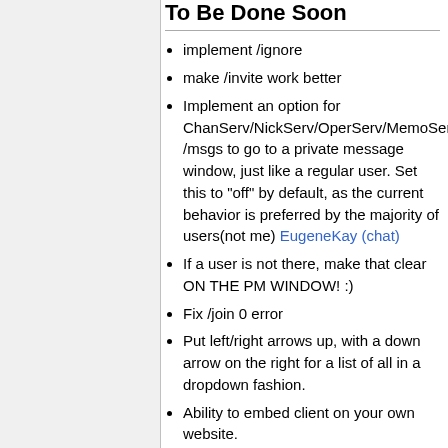To Be Done Soon
implement /ignore
make /invite work better
Implement an option for ChanServ/NickServ/OperServ/MemoServ /msgs to go to a private message window, just like a regular user. Set this to "off" by default, as the current behavior is preferred by the majority of users(not me) EugeneKay (chat)
If a user is not there, make that clear ON THE PM WINDOW! :)
Fix /join 0 error
Put left/right arrows up, with a down arrow on the right for a list of all in a dropdown fashion.
Ability to embed client on your own website.
Online/offline button, click to PM me.